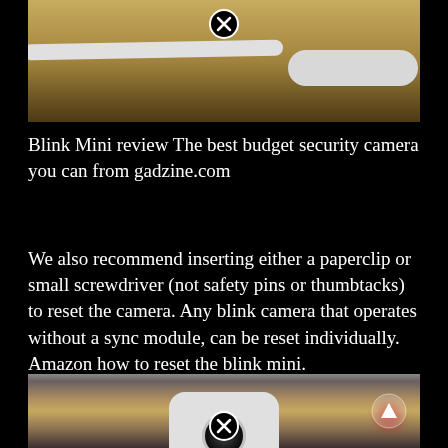[Figure (photo): Close-up photo of a white cable and a small white circular device base on a wooden surface, with a close/remove button icon overlay]
Blink Mini review The best budget security camera you can from gadzine.com
We also recommend inserting either a paperclip or small screwdriver (not safety pins or thumbtacks) to reset the camera. Any blink camera that operates without a sync module, can be reset individually. Amazon how to reset the blink mini.
[Figure (photo): Photo of a white Blink Mini security camera with lens visible and a cable, on a blurred background, with close/remove button and play button overlays]